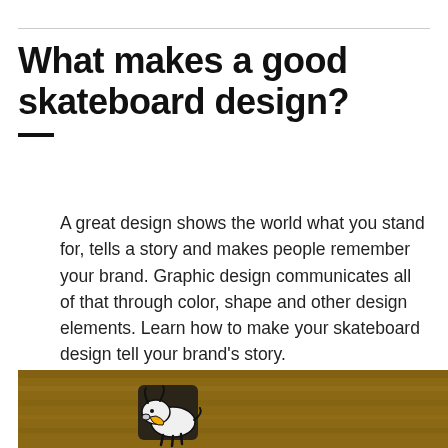What makes a good skateboard design?
A great design shows the world what you stand for, tells a story and makes people remember your brand. Graphic design communicates all of that through color, shape and other design elements. Learn how to make your skateboard design tell your brand’s story.
[Figure (photo): Photo of a skateboard deck with a cartoon bison or buffalo mascot logo, placed on a wooden surface. The mascot is white and black with yellow accents.]